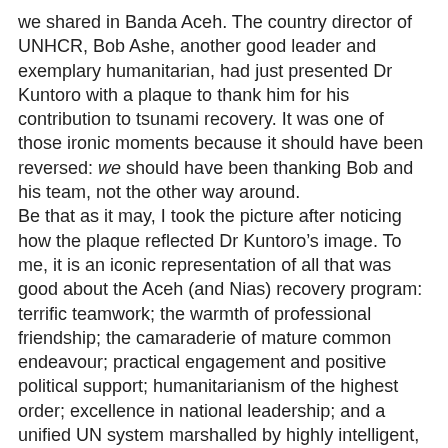we shared in Banda Aceh. The country director of UNHCR, Bob Ashe, another good leader and exemplary humanitarian, had just presented Dr Kuntoro with a plaque to thank him for his contribution to tsunami recovery. It was one of those ironic moments because it should have been reversed: we should have been thanking Bob and his team, not the other way around.
Be that as it may, I took the picture after noticing how the plaque reflected Dr Kuntoro’s image. To me, it is an iconic representation of all that was good about the Aceh (and Nias) recovery program: terrific teamwork; the warmth of professional friendship; the camaraderie of mature common endeavour; practical engagement and positive political support; humanitarianism of the highest order; excellence in national leadership; and a unified UN system marshalled by highly intelligent, well-meaning individuals like Bob Ashe whose contributions and experience would have been sorely missed had they been absent.
With those thoughts in mind, here is the Tempo column. I wrote it to contrast the contrived credit various agencies and organisations will take from the Aceh experience as they pat themselves on the back for a job they supposedly did well